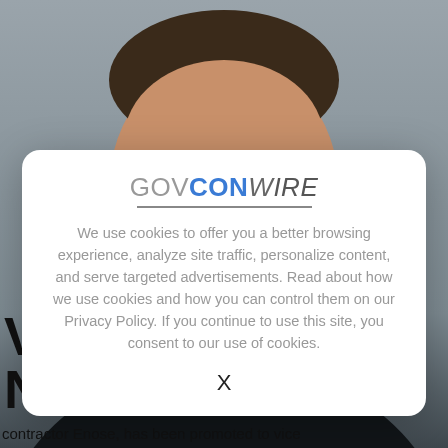[Figure (photo): Headshot photo of a middle-aged man with a goatee wearing a dark suit and white shirt, shown from shoulders up against a grey background]
[Figure (screenshot): Cookie consent modal dialog from GovConWire website with logo, privacy notice text, and close button X]
contractor Enose, has been promoted to vice